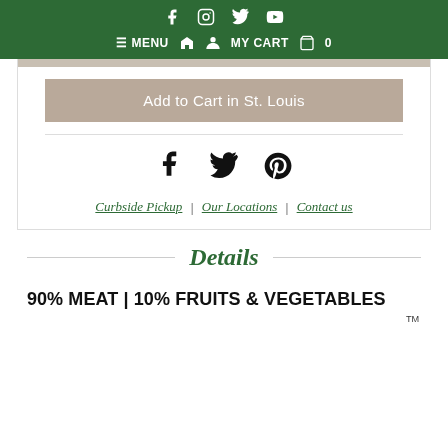Social icons: Facebook, Instagram, Twitter, YouTube | MENU | Home | Account | MY CART 0
[Figure (screenshot): Gray top bar of product card area]
Add to Cart in St. Louis
[Figure (illustration): Social share icons: Facebook, Twitter, Pinterest]
Curbside Pickup | Our Locations | Contact us
Details
90% MEAT | 10% FRUITS & VEGETABLES
TM